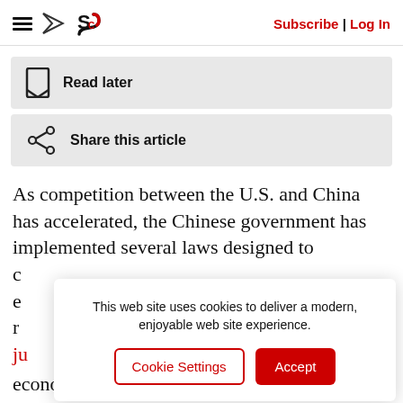≡ ✉ S Subscribe | Log In
Read later
Share this article
As competition between the U.S. and China has accelerated, the Chinese government has implemented several laws designed to co… ex… re… ju…
This web site uses cookies to deliver a modern, enjoyable web site experience.
Cookie Settings  Accept
economy. A set of new laws, including the Data